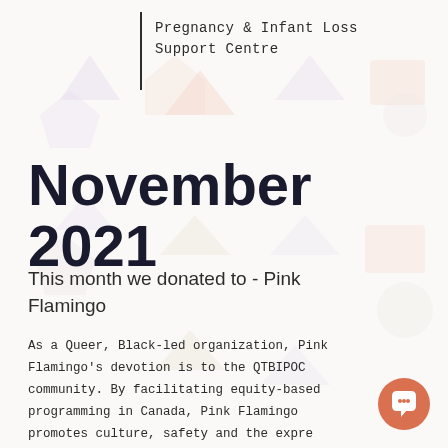Pregnancy & Infant Loss
Support Centre
November 2021
This month we donated to - Pink Flamingo
As a Queer, Black-led organization, Pink Flamingo's devotion is to the QTBIPOC community. By facilitating equity-based programming in Canada, Pink Flamingo promotes culture, safety and the expre of self for marginalized people.